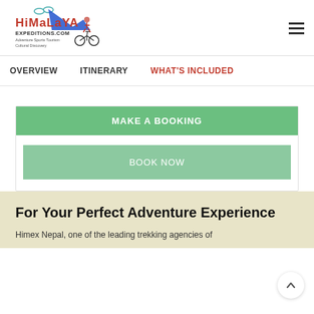Himalaya Expeditions logo and hamburger menu
OVERVIEW   ITINERARY   WHAT'S INCLUDED
MAKE A BOOKING
BOOK NOW
For Your Perfect Adventure Experience
Himex Nepal, one of the leading trekking agencies of